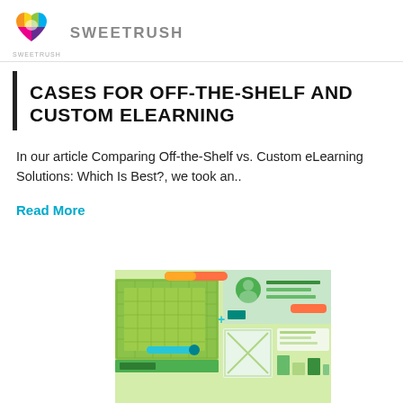SWEETRUSH
CASES FOR OFF-THE-SHELF AND CUSTOM ELEARNING
In our article Comparing Off-the-Shelf vs. Custom eLearning Solutions: Which Is Best?, we took an..
Read More
[Figure (illustration): An isometric-style illustration showing eLearning interface components in shades of green, teal, and orange, with grid layouts, user interface cards, and decorative patterns on a light green background.]